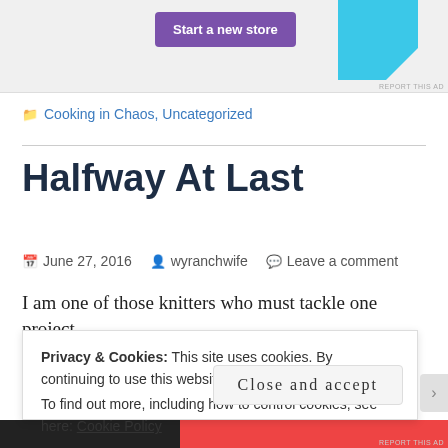[Figure (other): Advertisement banner with 'Start a new store' purple button and cyan decorative shape]
Cooking in Chaos, Uncategorized
Halfway At Last
June 27, 2016   wyranchwife   Leave a comment
I am one of those knitters who must tackle one project
Privacy & Cookies: This site uses cookies. By continuing to use this website, you agree to their use.
To find out more, including how to control cookies, see here: Cookie Policy
Close and accept